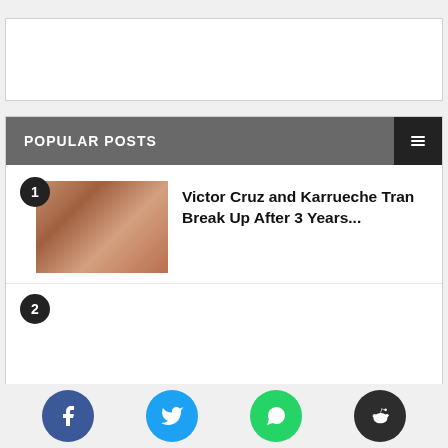[Figure (other): Advertisement placeholder box, white rectangle with thin border]
POPULAR POSTS
[Figure (photo): Thumbnail photo of Victor Cruz and Karrueche Tran in an intimate pose]
Victor Cruz and Karrueche Tran Break Up After 3 Years...